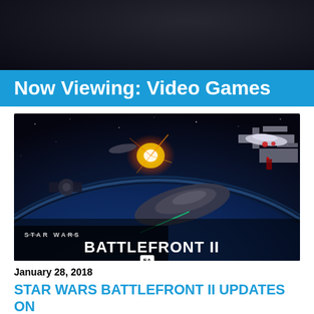[Figure (photo): Dark header image, appears to be a shadowy/dark scene]
Now Viewing: Video Games
[Figure (photo): Star Wars Battlefront II space battle screenshot showing starfighters, explosions, and a planet in the background. STAR WARS BATTLEFRONT II logo visible at bottom left.]
January 28, 2018
STAR WARS BATTLEFRONT II UPDATES ON